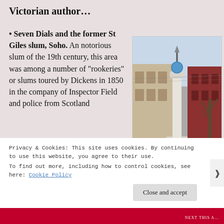Victorian author…
Seven Dials and the former St Giles slum, Soho. An notorious slum of the 19th century, this area was among a number of "rookeries" or slums toured by Dickens in 1850 in the company of Inspector Field and police from Scotland
[Figure (photo): A tall white stone column monument (Seven Dials monument) in a street with brick buildings in the background, bare winter trees to the right.]
Privacy & Cookies: This site uses cookies. By continuing to use this website, you agree to their use.
To find out more, including how to control cookies, see here: Cookie Policy
Close and accept